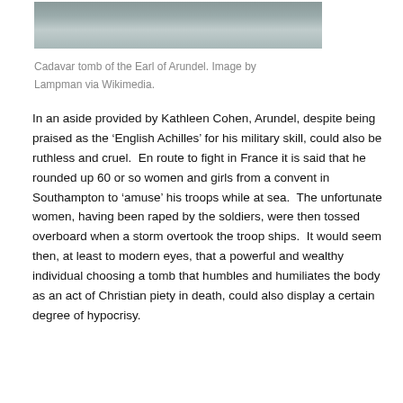[Figure (photo): Cadavar tomb of the Earl of Arundel, a stone tomb effigy photographed in a church interior.]
Cadavar tomb of the Earl of Arundel. Image by Lampman via Wikimedia.
In an aside provided by Kathleen Cohen, Arundel, despite being praised as the ‘English Achilles’ for his military skill, could also be ruthless and cruel.  En route to fight in France it is said that he rounded up 60 or so women and girls from a convent in Southampton to ‘amuse’ his troops while at sea.  The unfortunate women, having been raped by the soldiers, were then tossed overboard when a storm overtook the troop ships.  It would seem then, at least to modern eyes, that a powerful and wealthy individual choosing a tomb that humbles and humiliates the body as an act of Christian piety in death, could also display a certain degree of hypocrisy.